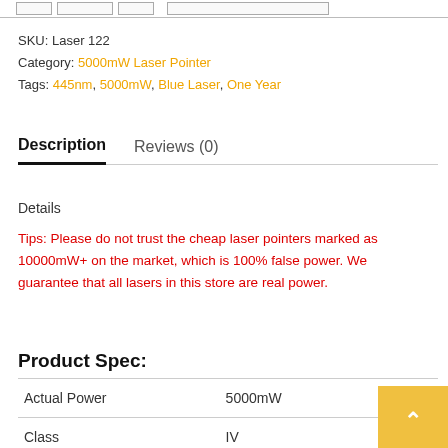SKU: Laser 122
Category: 5000mW Laser Pointer
Tags: 445nm, 5000mW, Blue Laser, One Year
Description | Reviews (0)
Details
Tips: Please do not trust the cheap laser pointers marked as 10000mW+ on the market, which is 100% false power. We guarantee that all lasers in this store are real power.
Product Spec:
|  |  |
| --- | --- |
| Actual Power | 5000mW |
| Class | IV |